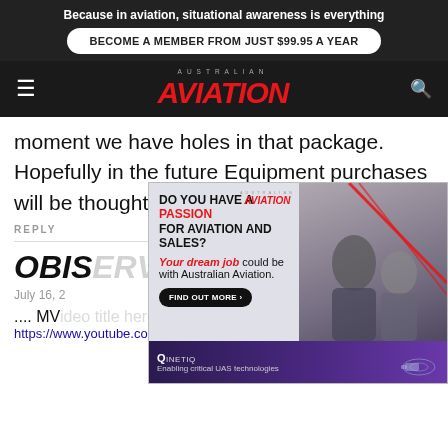Because in aviation, situational awareness is everything
BECOME A MEMBER FROM JUST $99.95 A YEAR
AUSTRALIAN AVIATION
moment we have holes in that package. Hopefully in the future Equipment purchases will be thought about
REPLY
OBIS
July 16, 2
.... MV
https://www.youtube.com/watch?v=sp17ZL9Bu4k
[Figure (advertisement): Australian Aviation job advertisement: DO YOU HAVE A PASSION FOR AVIATION AND SALES? Your dream job could be with Australian Aviation. FIND OUT MORE button. Shows two people in conversation.]
[Figure (advertisement): QinetiQ advertisement: Enabling critical UAS technologies. Purple background with logo and product imagery.]